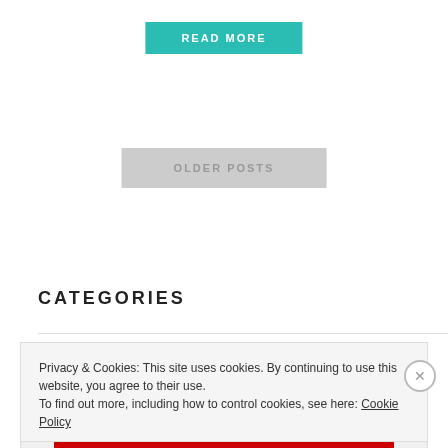READ MORE
OLDER POSTS
CATEGORIES
Privacy & Cookies: This site uses cookies. By continuing to use this website, you agree to their use. To find out more, including how to control cookies, see here: Cookie Policy
Close and accept